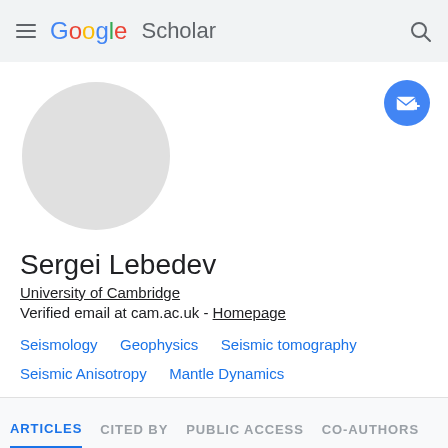Google Scholar
[Figure (illustration): Default user avatar - gray circle placeholder image]
[Figure (illustration): Blue circular follow/email button with envelope icon and plus sign]
Sergei Lebedev
University of Cambridge
Verified email at cam.ac.uk - Homepage
Seismology
Geophysics
Seismic tomography
Seismic Anisotropy
Mantle Dynamics
ARTICLES  CITED BY  PUBLIC ACCESS  CO-AUTHORS
SORT  CITED BY